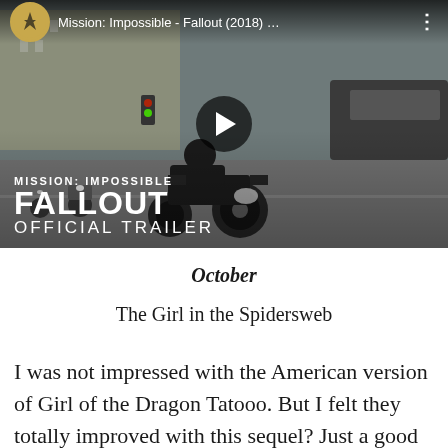[Figure (screenshot): YouTube video thumbnail for Mission: Impossible - Fallout (2018) official trailer. Shows a man in black leather jacket riding a motorcycle toward camera on a city street with police motorcycles behind him. Play button overlay in center. Channel logo and title bar at top. Text overlay at bottom reads MISSION: IMPOSSIBLE FALLOUT OFFICIAL TRAILER.]
October
The Girl in the Spidersweb
I was not impressed with the American version of Girl of the Dragon Tatooo. But I felt they totally improved with this sequel? Just a good story and